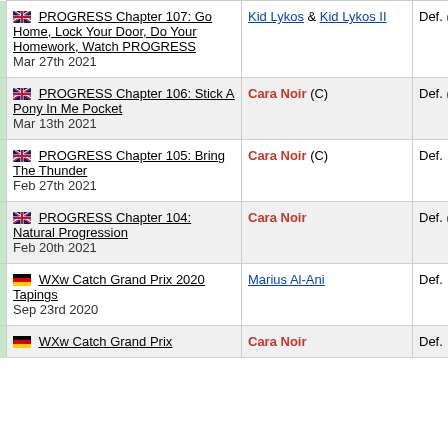|  | Event | Opponent | Result |
| --- | --- | --- | --- |
|  | 🇬🇧 PROGRESS Chapter 107: Go Home, Lock Your Door, Do Your Homework, Watch PROGRESS
Mar 27th 2021 | Kid Lykos & Kid Lykos II | Def. (Pin) |
|  | 🇬🇧 PROGRESS Chapter 106: Stick A Pony In Me Pocket
Mar 13th 2021 | Cara Noir (C) | Def. (Pin) |
|  | 🇬🇧 PROGRESS Chapter 105: Bring The Thunder
Feb 27th 2021 | Cara Noir (C) | Def. |
|  | 🇬🇧 PROGRESS Chapter 104: Natural Progression
Feb 20th 2021 | Cara Noir | Def. (Sub) |
|  | 🇩🇪 WXw Catch Grand Prix 2020 Tapings
Sep 23rd 2020 | Marius Al-Ani | Def. |
|  | 🇩🇪 WXw Catch Grand Prix 2020 Tapings | Cara Noir | Def. |